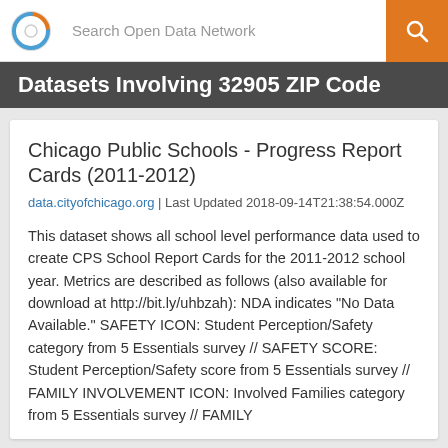Search Open Data Network
Datasets Involving 32905 ZIP Code
Chicago Public Schools - Progress Report Cards (2011-2012)
data.cityofchicago.org | Last Updated 2018-09-14T21:38:54.000Z
This dataset shows all school level performance data used to create CPS School Report Cards for the 2011-2012 school year. Metrics are described as follows (also available for download at http://bit.ly/uhbzah): NDA indicates "No Data Available." SAFETY ICON: Student Perception/Safety category from 5 Essentials survey // SAFETY SCORE: Student Perception/Safety score from 5 Essentials survey // FAMILY INVOLVEMENT ICON: Involved Families category from 5 Essentials survey // FAMILY